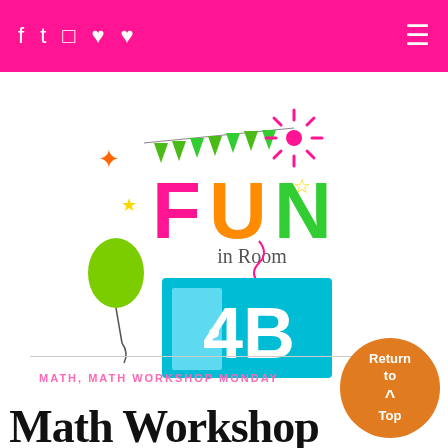f  t  (instagram)  p  (heart)  ≡
[Figure (logo): Fun in Room 4B logo: colorful text 'FUN' in pink, orange, green letters with bunting flags, fireworks, balloon, stars, and a teal door showing '4B']
MATH, MATH WORKSHOP MONDAY
Math Workshop Fina...
[Figure (other): Orange circular 'Return to Top' button with upward chevron arrow]